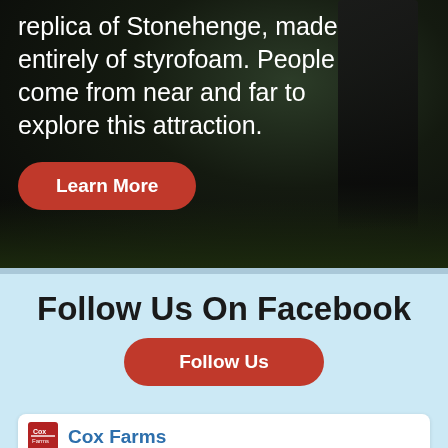[Figure (photo): Dark outdoor night photo showing a Stonehenge replica with text overlay and a 'Learn More' button]
replica of Stonehenge, made entirely of styrofoam. People come from near and far to explore this attraction.
Learn More
Follow Us On Facebook
Follow Us
[Figure (logo): Cox Farms logo]
Cox Farms